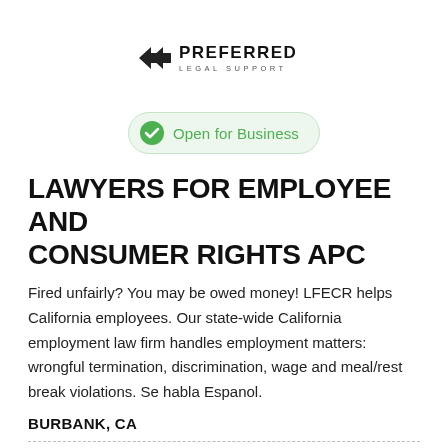[Figure (logo): Preferred Legal Support logo with double arrow icon and text]
Open for Business
LAWYERS FOR EMPLOYEE AND CONSUMER RIGHTS APC
Fired unfairly? You may be owed money! LFECR helps California employees. Our state-wide California employment law firm handles employment matters: wrongful termination, discrimination, wage and meal/rest break violations. Se habla Espanol.
BURBANK, CA
Lawyers for Employee and Consumer Rights APC is at the